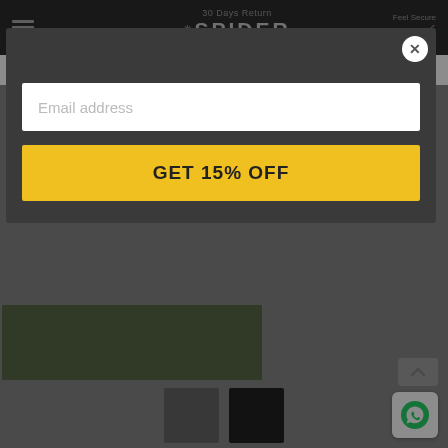Top Quality   30 Days Return   Feel Secure
[Figure (logo): Spider Camera Holster logo with stylized sun/spider icon above text SPIDER CAMERA HOLSTER]
[Figure (screenshot): Website screenshot showing Spider Camera Holster e-commerce site with modal popup overlay. Modal contains an email address input field and a yellow GET 15% OFF button. Background shows partial product images and dark nav bar.]
Email address
GET 15% OFF